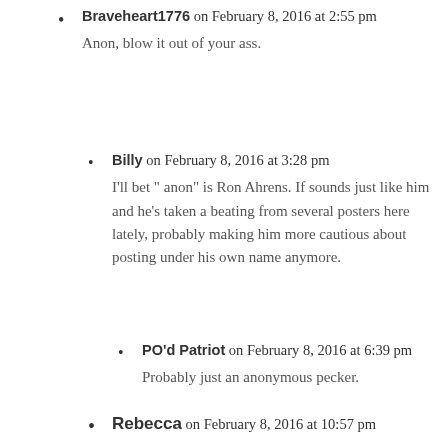Braveheart1776 on February 8, 2016 at 2:55 pm
Anon, blow it out of your ass.
Billy on February 8, 2016 at 3:28 pm
I'll bet " anon" is Ron Ahrens. If sounds just like him and he's taken a beating from several posters here lately, probably making him more cautious about posting under his own name anymore.
PO'd Patriot on February 8, 2016 at 6:39 pm
Probably just an anonymous pecker.
Rebecca on February 8, 2016 at 10:57 pm
Billy, it does sound like Ron Ahrens trying